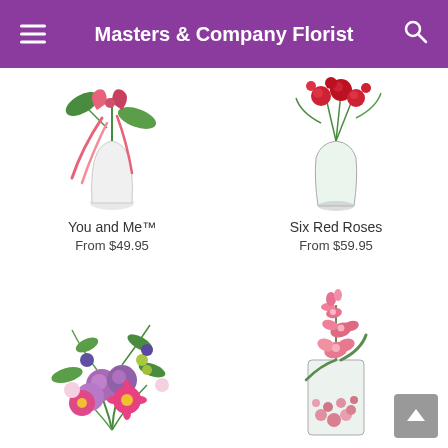Masters & Company Florist
[Figure (photo): You and Me flower arrangement - pink/red bow with green leaves in white vase]
You and Me™
From $49.95
[Figure (photo): Six Red Roses arrangement in glass vase with greenery]
Six Red Roses
From $59.95
[Figure (photo): Colorful purple, pink and yellow flower bouquet with roses and gerbera daisies]
[Figure (photo): Pink orchid arrangement in glass vase with pink stones]